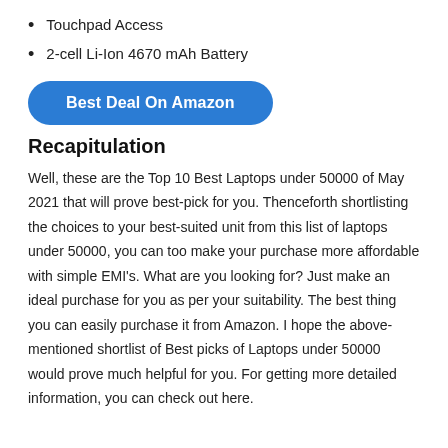Touchpad Access
2-cell Li-Ion 4670 mAh Battery
[Figure (other): Blue rounded button labeled 'Best Deal On Amazon']
Recapitulation
Well, these are the Top 10 Best Laptops under 50000 of May 2021 that will prove best-pick for you. Thenceforth shortlisting the choices to your best-suited unit from this list of laptops under 50000, you can too make your purchase more affordable with simple EMI’s. What are you looking for? Just make an ideal purchase for you as per your suitability. The best thing you can easily purchase it from Amazon. I hope the above-mentioned shortlist of Best picks of Laptops under 50000 would prove much helpful for you. For getting more detailed information, you can check out here.